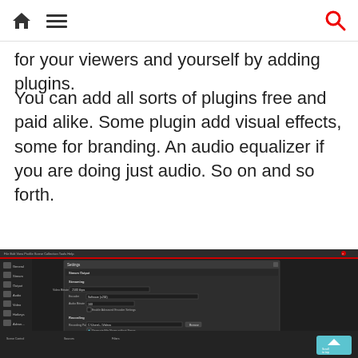for your viewers and yourself by adding plugins.
You can add all sorts of plugins free and paid alike. Some plugin add visual effects, some for branding. An audio equalizer if you are doing just audio. So on and so forth.
[Figure (screenshot): Screenshot of OBS Studio software showing a Settings dialog open with options for Output and Recording configuration, including fields for Recording Path, Recording Quality, Recording Format, and Encoder settings. The main OBS interface with dark theme is visible behind the settings dialog.]